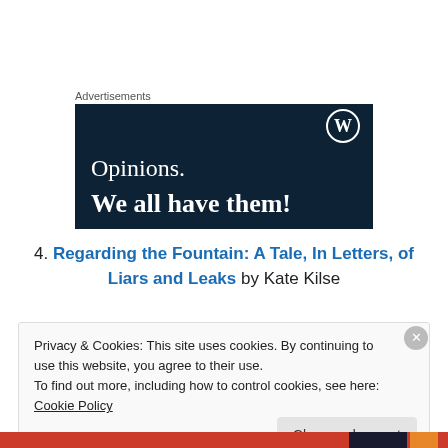Advertisements
[Figure (illustration): WordPress advertisement banner with dark navy background, WordPress logo (W in circle) in top right, text 'Opinions.' in white serif font and 'We all have them!' in bold white serif font.]
4. Regarding the Fountain: A Tale, In Letters, of Liars and Leaks by Kate Kilse
Privacy & Cookies: This site uses cookies. By continuing to use this website, you agree to their use.
To find out more, including how to control cookies, see here: Cookie Policy
Close and accept